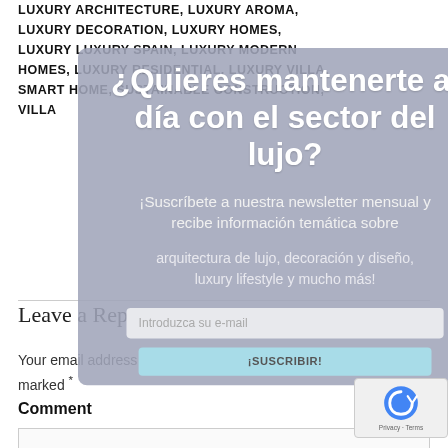LUXURY ARCHITECTURE, LUXURY AROMA, LUXURY DECORATION, LUXURY HOMES, LUXURY LUXURY SPAIN, LUXURY MODERN HOMES, LUXURY RESIDENTIAL, LUXURY VILLA, SMART HOME, SUSTAINABLE CONSTRUCTION, VILLA
Leave a Reply
Your email address will not be published. Required fields are marked *
Comment
[Figure (other): Modal overlay popup in Spanish asking users to subscribe to a luxury newsletter. Title: '¿Quieres mantenerte al día con el sector del lujo?' Subtitle: '¡Suscríbete a nuestra newsletter mensual y recibe información temática sobre arquitectura de lujo, decoración y diseño, luxury lifestyle y mucho más!' Input field: 'Introduzca su e-mail'. Button: '¡SUSCRIBIR!' with a close X button.]